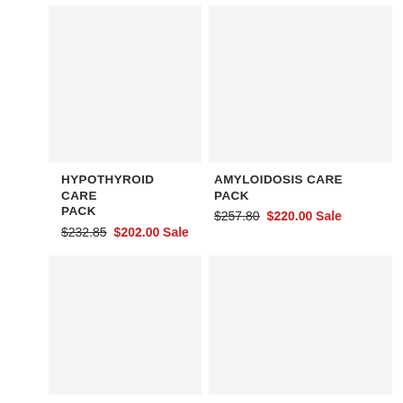[Figure (photo): Product image placeholder for Hypothyroid Care Pack, light gray background]
[Figure (photo): Product image placeholder for Amyloidosis Care Pack, light gray background]
HYPOTHYROID CARE PACK
$232.85  $202.00 Sale
AMYLOIDOSIS CARE PACK
$257.80  $220.00 Sale
[Figure (photo): Product image placeholder bottom left, light gray background]
[Figure (photo): Product image placeholder bottom right, light gray background]